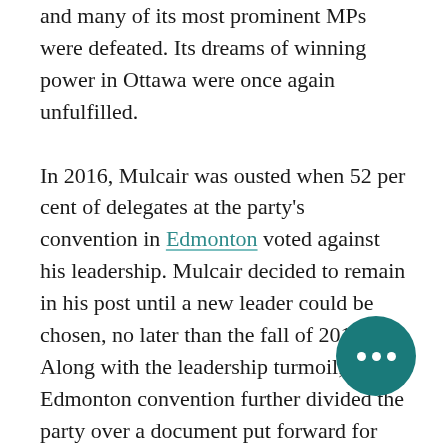and many of its most prominent MPs were defeated. Its dreams of winning power in Ottawa were once again unfulfilled.
In 2016, Mulcair was ousted when 52 per cent of delegates at the party's convention in Edmonton voted against his leadership. Mulcair decided to remain in his post until a new leader could be chosen, no later than the fall of 2017. Along with the leadership turmoil, the Edmonton convention further divided the party over a document put forward for debate called the Leap Manifesto, which called for a transition of Canada's economy away from fossil fuels development, and a ban on new oil and gas pipelines. Although